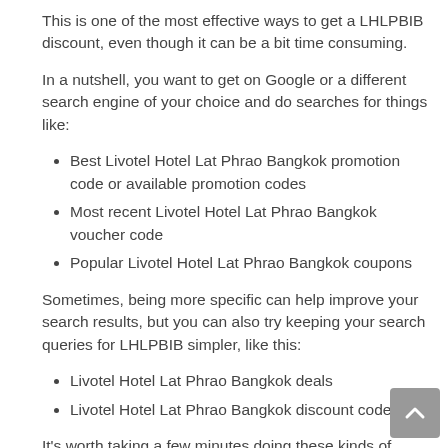This is one of the most effective ways to get a LHLPBIB discount, even though it can be a bit time consuming.
In a nutshell, you want to get on Google or a different search engine of your choice and do searches for things like:
Best Livotel Hotel Lat Phrao Bangkok promotion code or available promotion codes
Most recent Livotel Hotel Lat Phrao Bangkok voucher code
Popular Livotel Hotel Lat Phrao Bangkok coupons
Sometimes, being more specific can help improve your search results, but you can also try keeping your search queries for LHLPBIB simpler, like this:
Livotel Hotel Lat Phrao Bangkok deals
Livotel Hotel Lat Phrao Bangkok discount codes
It's worth taking a few minutes doing these kinds of searches, if it gets you a better price on your stay in